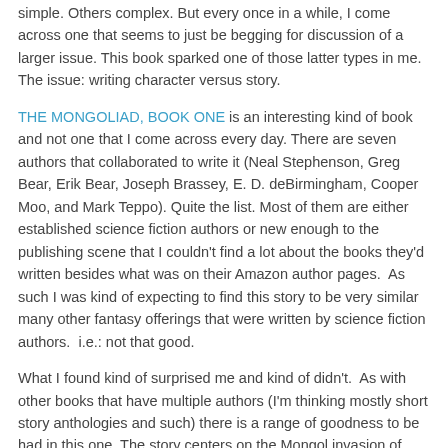simple. Others complex. But every once in a while, I come across one that seems to just be begging for discussion of a larger issue. This book sparked one of those latter types in me. The issue: writing character versus story.
THE MONGOLIAD, BOOK ONE is an interesting kind of book and not one that I come across every day. There are seven authors that collaborated to write it (Neal Stephenson, Greg Bear, Erik Bear, Joseph Brassey, E. D. deBirmingham, Cooper Moo, and Mark Teppo). Quite the list. Most of them are either established science fiction authors or new enough to the publishing scene that I couldn't find a lot about the books they'd written besides what was on their Amazon author pages.  As such I was kind of expecting to find this story to be very similar many other fantasy offerings that were written by science fiction authors.  i.e.: not that good.
What I found kind of surprised me and kind of didn't.  As with other books that have multiple authors (I'm thinking mostly short story anthologies and such) there is a range of goodness to be had in this one. The story centers on the Mongol invasion of Europe, circa 1240 A.D., and is split